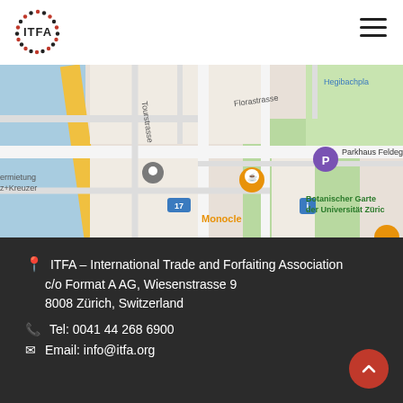[Figure (logo): ITFA logo — circular dotted border with ITFA text in center, red and black dots]
[Figure (map): Google Maps screenshot showing Zurich area near Botanischer Garten der Universität Zürich, Parkhaus Feldegg, Monocle, street names Florastrasse, Tourstrasse]
ITFA – International Trade and Forfaiting Association
c/o Format A AG, Wiesenstrasse 9
8008 Zürich, Switzerland
Tel: 0041 44 268 6900
Email: info@itfa.org